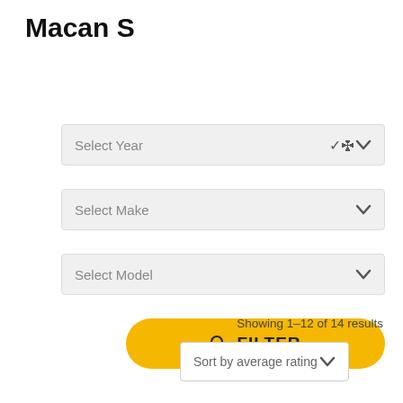Macan S
Select Year
Select Make
Select Model
FILTER
Showing 1–12 of 14 results
Sort by average rating